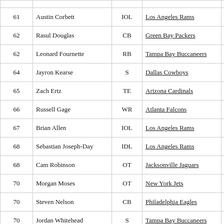| Rank | Name | Pos | Team | Score |  |
| --- | --- | --- | --- | --- | --- |
| 61 | Austin Corbett | IOL | Los Angeles Rams | 407 | 5 |
| 62 | Rasul Douglas | CB | Green Bay Packers | 412 | 1 |
| 62 | Leonard Fournette | RB | Tampa Bay Buccaneers | 412 | 6 |
| 64 | Jayron Kearse | S | Dallas Cowboys | 432 | 7 |
| 65 | Zach Ertz | TE | Arizona Cardinals | 434 | 5 |
| 66 | Russell Gage | WR | Atlanta Falcons | 437 | 1 |
| 67 | Brian Allen | IOL | Los Angeles Rams | 440 | 6 |
| 68 | Sebastian Joseph-Day | IDL | Los Angeles Rams | 443 | 8 |
| 68 | Cam Robinson | OT | Jacksonville Jaguars | 443 | 1 |
| 70 | Morgan Moses | OT | New York Jets | 447 | 5 |
| 70 | Steven Nelson | CB | Philadelphia Eagles | 447 | 4 |
| 70 | Jordan Whitehead | S | Tampa Bay Buccaneers | 447 | 7 |
| 73 | Will Fuller V | WR | Miami Dolphins | 452 | 8 |
| 74 | Marcus Mariota | QB | Las Vegas Raiders | 453 | 6 |
| 75 | Amara Darboh (partial) | WR | Jacksonville Jaguars | 455 | 1 |